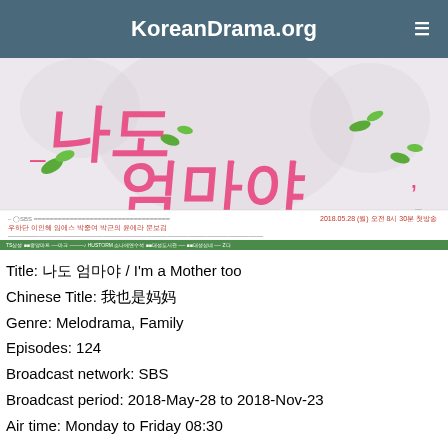KoreanDrama.org
[Figure (photo): Korean drama poster for '나도 엄마야' (I'm a Mother too) showing Korean title text in pink handwritten style with green leaf decorations, SBS broadcast information and cast credits at the bottom]
Title: 나도 엄마야 / I'm a Mother too
Chinese Title: 我也是妈妈
Genre: Melodrama, Family
Episodes: 124
Broadcast network: SBS
Broadcast period: 2018-May-28 to 2018-Nov-23
Air time: Monday to Friday 08:30
Synopsis